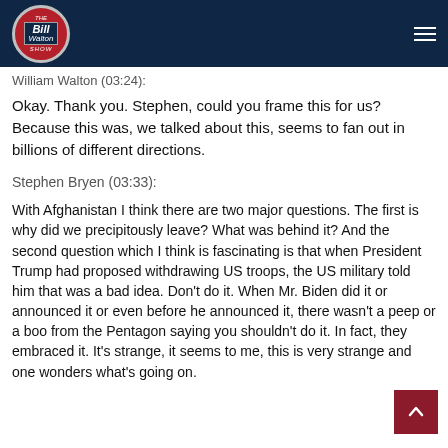The Bill Walton Show
William Walton (03:24):
Okay. Thank you. Stephen, could you frame this for us? Because this was, we talked about this, seems to fan out in billions of different directions.
Stephen Bryen (03:33):
With Afghanistan I think there are two major questions. The first is why did we precipitously leave? What was behind it? And the second question which I think is fascinating is that when President Trump had proposed withdrawing US troops, the US military told him that was a bad idea. Don't do it. When Mr. Biden did it or announced it or even before he announced it, there wasn't a peep or a boo from the Pentagon saying you shouldn't do it. In fact, they embraced it. It's strange, it seems to me, this is very strange and one wonders what's going on.